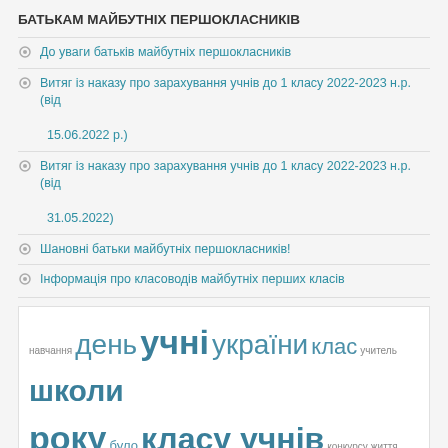БАТЬКАМ МАЙБУТНІХ ПЕРШОКЛАСНИКІВ
До уваги батьків майбутніх першокласників
Витяг із наказу про зарахування учнів до 1 класу 2022-2023 н.р. (від 15.06.2022 р.)
Витяг із наказу про зарахування учнів до 1 класу 2022-2023 н.р. (від 31.05.2022)
Шановні батьки майбутніх першокласників!
Інформація про класоводів майбутніх перших класів
[Figure (infographic): Tag cloud with Ukrainian education-related words in various sizes: навчання, день, учні, україни, клас, учитель, школи, року, було, класу учнів, конкурсу, життя, навчально, роботи, вчителів, були, місце, класів, української, діти, освіти, участь, дітей, мови, JoeLipman.Com]
[Figure (photo): Ukrainian flag with trident emblem on blue background]